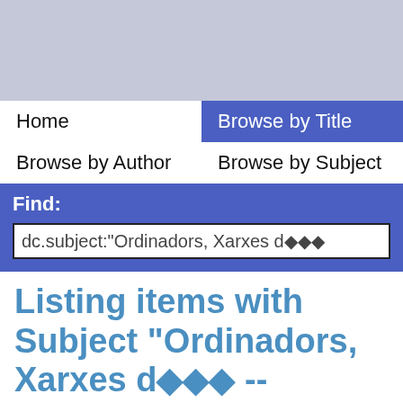[Figure (screenshot): Gray header banner at top of web page]
Home
Browse by Title
Browse by Author
Browse by Subject
Find:
dc.subject:"Ordinadors, Xarxes d���
Listing items with Subject "Ordinadors, Xarxes d��� --